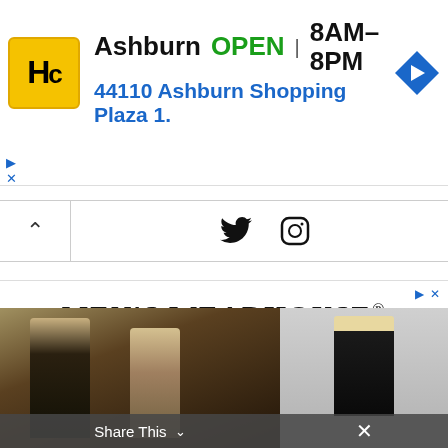[Figure (screenshot): HC logo yellow square with stylized HC letters]
Ashburn OPEN 8AM–8PM 44110 Ashburn Shopping Plaza 1.
[Figure (screenshot): Blue navigation arrow diamond icon]
[Figure (screenshot): Social media bar with Twitter and Instagram icons]
[Figure (screenshot): Men's Wearhouse advertisement with couple in formalwear and man in suit]
MEN'S WEARHOUSE®
New Lower Prices
Share This